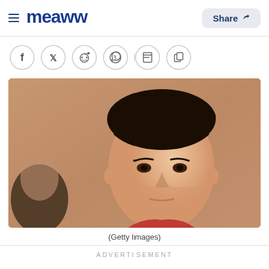Meaww — Share
[Figure (other): Social sharing icons: Facebook, Twitter, Reddit, WhatsApp, Flipboard, Copy]
[Figure (photo): Close-up photo of a man with dark hair looking forward, blurred person in background left, warm brown background]
(Getty Images)
ADVERTISEMENT